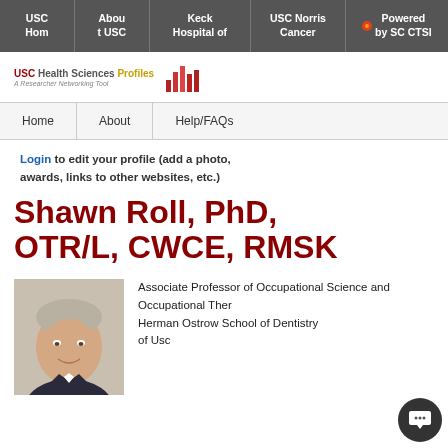USC Hom | About USC | Keck Hospital of | USC Norris Cancer | Powered by SC CTSI
[Figure (logo): USC Health Sciences Profiles - A Researcher Networking Tool logo with bar chart icon]
Home | About | Help/FAQs
Login to edit your profile (add a photo, awards, links to other websites, etc.)
Shawn Roll, PhD, OTR/L, CWCE, RMSK
[Figure (photo): Professional headshot of Shawn Roll, a middle-aged man with short gray hair wearing a dark suit]
Associate Professor of Occupational Science and Occupational Therapy
Herman Ostrow School of Dentistry of Usc